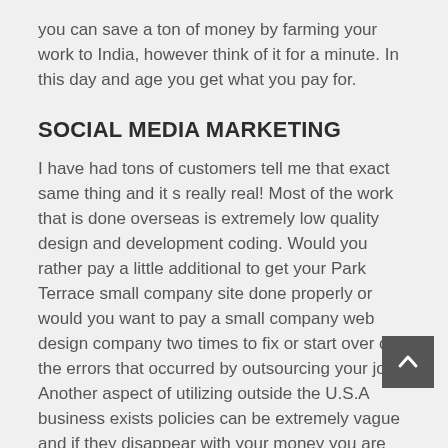you can save a ton of money by farming your work to India, however think of it for a minute. In this day and age you get what you pay for.
SOCIAL MEDIA MARKETING
I have had tons of customers tell me that exact same thing and it s really real! Most of the work that is done overseas is extremely low quality design and development coding. Would you rather pay a little additional to get your Park Terrace small company site done properly or would you want to pay a small company web design company two times to fix or start over on the errors that occurred by outsourcing your job. Another aspect of utilizing outside the U.S.A business exists policies can be extremely vague and if they disappear with your money you are out everything you spent and have nothing to reveal for it.